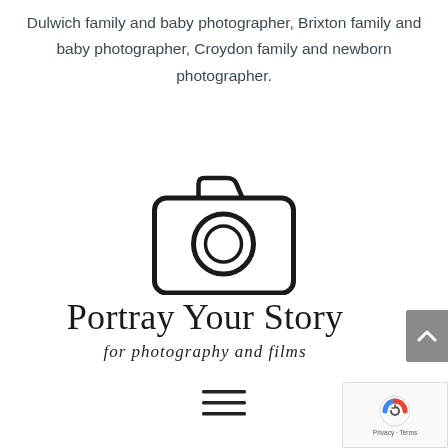Dulwich family and baby photographer, Brixton family and baby photographer, Croydon family and newborn photographer.
[Figure (logo): Camera icon outline logo — simple line-art camera with circular lens, used as the logo icon for Portray Your Story photography brand]
Portray Your Story
for photography and films
[Figure (other): Hamburger menu icon — three horizontal lines]